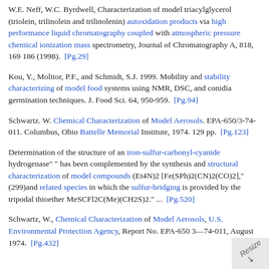W.E. Neff, W.C. Byrdwell, Characterization of model triacylglycerol (triolein, trilinolein and trilinolenin) autoxidation products via high performance liquid chromatography coupled with atmospheric pressure chemical ionization mass spectrometry, Journal of Chromatography A, 818, 169 186 (1998).  [Pg.29]
Kou, Y., Molitor, P.F., and Schmidt, S.J. 1999. Mobility and stability characterizing of model food systems using NMR, DSC, and conidia germination techniques. J. Food Sci. 64, 950-959.  [Pg.94]
Schwartz. W. Chemical Characterization of Model Aerosols. EPA-650/3-74-011. Columbus, Ohio Battelle Memorial Institute, 1974. 129 pp.  [Pg.123]
Determination of the structure of an iron-sulfur-carbonyl-cyanide hydrogenase" " has been complemented by the synthesis and structural characterization of model compounds (Et4N)2 [Fe(SPh)2(CN)2(CO)2]," (299)and related species in which the sulfur-bridging is provided by the tripodal thioether MeSCFl2C(Me)(CH2S)2." ...  [Pg.520]
Schwartz, W., Chemical Characterization of Model Aerosols, U.S. Environmental Protection Agency, Report No. EPA-650 3—74-011, August 1974.  [Pg.432]